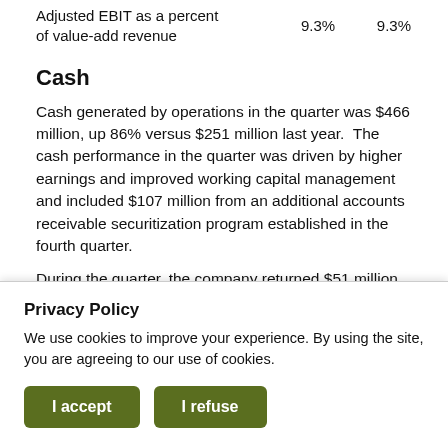|  |  |  |
| --- | --- | --- |
| Adjusted EBIT as a percent of value-add revenue | 9.3% | 9.3% |
Cash
Cash generated by operations in the quarter was $466 million, up 86% versus $251 million last year.  The cash performance in the quarter was driven by higher earnings and improved working capital management and included $107 million from an additional accounts receivable securitization program established in the fourth quarter.
During the quarter, the company returned $51 million to shareholders, including the repurchase of approximately
Privacy Policy
We use cookies to improve your experience. By using the site, you are agreeing to our use of cookies.